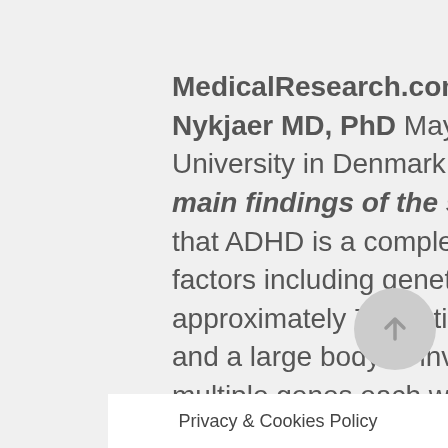MedicalResearch.com Interview with: Dr. Anders Nykjaer MD, PhD Mayo Clinic in Florida and Aarhus University in Denmark MedicalResearch: What are the main findings of the study? Dr. Nykjaer: It is well known that ADHD is a complex condition caused by a number of factors including genetic and environment. However, approximately 75% etiology is considered to be genetic and a large body of investigations suggests that it is multiple genes each with a moderate effect that is responsible for conferring susceptibility to ADHD. We have here found one single gene the dysfunction of which is sufficient to trigger the disease. The gene encodes a receptor, SorCS2
Privacy & Cookies Policy